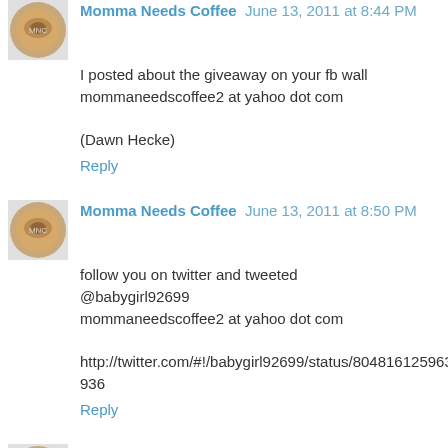Momma Needs Coffee June 13, 2011 at 8:44 PM
I posted about the giveaway on your fb wall
mommaneedscoffee2 at yahoo dot com

(Dawn Hecke)
Reply
Momma Needs Coffee June 13, 2011 at 8:50 PM
follow you on twitter and tweeted
@babygirl92699
mommaneedscoffee2 at yahoo dot com

http://twitter.com/#!/babygirl92699/status/80481612596391936
Reply
Momma Needs Coffee June 13, 2011 at 8:52 PM
Follow Banana Boat on twitter and tweeted about the giveaway